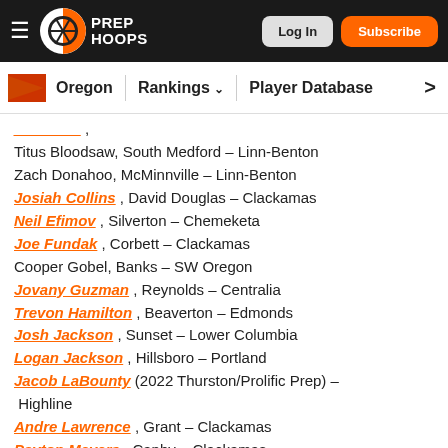Prep Hoops — Log In | Subscribe
Oregon | Rankings | Player Database
Titus Bloodsaw, South Medford – Linn-Benton
Zach Donahoo, McMinnville – Linn-Benton
Josiah Collins , David Douglas – Clackamas
Neil Efimov , Silverton – Chemeketa
Joe Fundak , Corbett – Clackamas
Cooper Gobel, Banks – SW Oregon
Jovany Guzman , Reynolds – Centralia
Trevon Hamilton , Beaverton – Edmonds
Josh Jackson , Sunset – Lower Columbia
Logan Jackson , Hillsboro – Portland
Jacob LaBounty (2022 Thurston/Prolific Prep) – Highline
Andre Lawrence , Grant – Clackamas
Payton Meyers , Canby – Clackamas